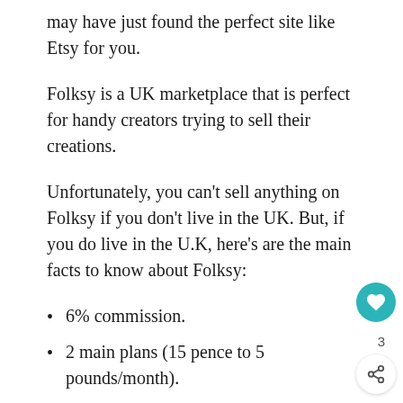may have just found the perfect site like Etsy for you.
Folksy is a UK marketplace that is perfect for handy creators trying to sell their creations.
Unfortunately, you can't sell anything on Folksy if you don't live in the UK. But, if you do live in the U.K, here’s are the main facts to know about Folksy:
6% commission.
2 main plans (15 pence to 5 pounds/month).
25+ selling benefits.
Personalized store url included.
Focus on British Crafts.